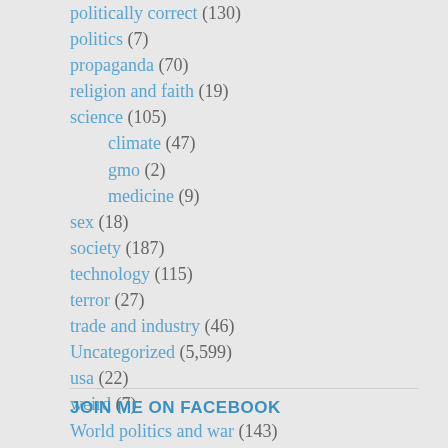politically correct (130)
politics (7)
propaganda (70)
religion and faith (19)
science (105)
climate (47)
gmo (2)
medicine (9)
sex (18)
society (187)
technology (115)
terror (27)
trade and industry (46)
Uncategorized (5,599)
usa (22)
weird (7)
World politics and war (143)
JOIN ME ON FACEBOOK